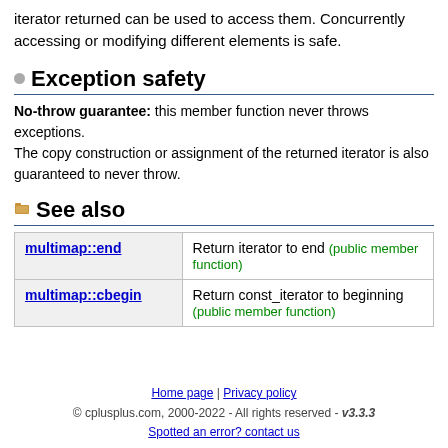iterator returned can be used to access them. Concurrently accessing or modifying different elements is safe.
Exception safety
No-throw guarantee: this member function never throws exceptions.
The copy construction or assignment of the returned iterator is also guaranteed to never throw.
See also
|  |  |
| --- | --- |
| multimap::end | Return iterator to end (public member function) |
| multimap::cbegin | Return const_iterator to beginning (public member function) |
Home page | Privacy policy
© cplusplus.com, 2000-2022 - All rights reserved - v3.3.3
Spotted an error? contact us